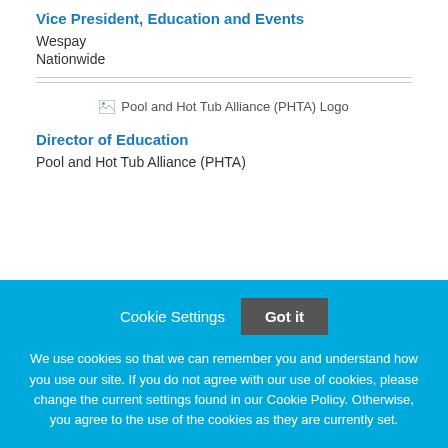Vice President, Education and Events
Wespay
Nationwide
[Figure (logo): Pool and Hot Tub Alliance (PHTA) Logo — broken image placeholder with alt text]
Director of Education
Pool and Hot Tub Alliance (PHTA)
Cookie Settings  Got it
We use cookies so that we can remember you and understand how you use our site. If you do not agree with our use of cookies, please change the current settings found in our Cookie Policy. Otherwise, you agree to the use of the cookies as they are currently set.